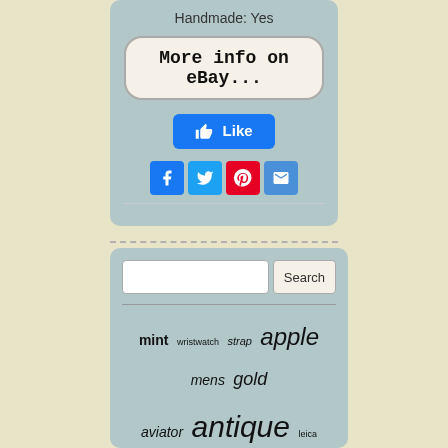Handmade: Yes
More info on eBay...
[Figure (screenshot): Facebook Like button (blue rounded rectangle with thumbs up icon and 'Like' text)]
[Figure (screenshot): Social share icons: Facebook (blue f), Twitter (blue bird), Pinterest (red P), Email (blue envelope)]
[Figure (screenshot): Search bar with text input and Search button]
mint wristwatch strap apple mens gold aviator antique leica brown stag pilot rare review iphone swiss black leather travel blade